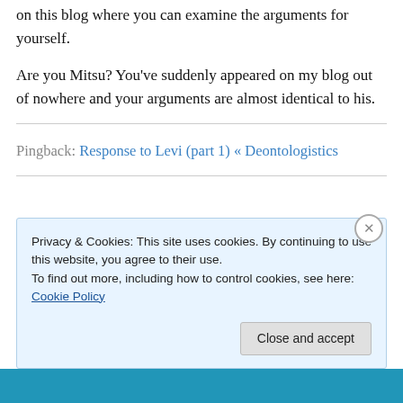on this blog where you can examine the arguments for yourself.
Are you Mitsu? You’ve suddenly appeared on my blog out of nowhere and your arguments are almost identical to his.
Pingback: Response to Levi (part 1) « Deontologistics
Privacy & Cookies: This site uses cookies. By continuing to use this website, you agree to their use. To find out more, including how to control cookies, see here: Cookie Policy